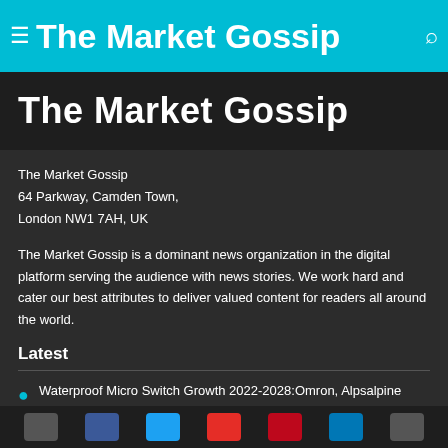The Market Gossip
The Market Gossip
The Market Gossip
64 Parkway, Camden Town,
London NW1 7AH, UK
The Market Gossip is a dominant news organization in the digital platform serving the audience with news stories. We work hard and cater our best attributes to deliver valued content for readers all around the world.
Latest
Waterproof Micro Switch Growth 2022-2028:Omron, Alpsalpine
Vegetable Glue Market 2022 Industry Analysis
Social share bar